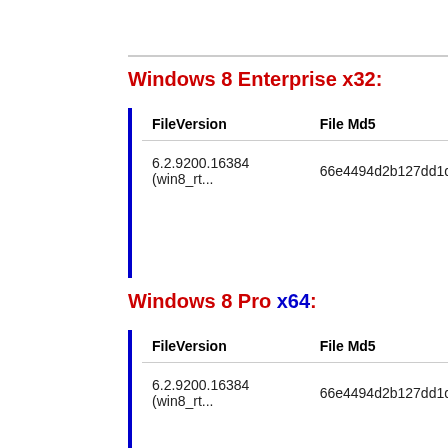Windows 8 Enterprise x32:
| FileVersion | File Md5 |
| --- | --- |
| 6.2.9200.16384 (win8_rt... | 66e4494d2b127dd1d |
Windows 8 Pro x64:
| FileVersion | File Md5 |
| --- | --- |
| 6.2.9200.16384 (win8_rt... | 66e4494d2b127dd1d |